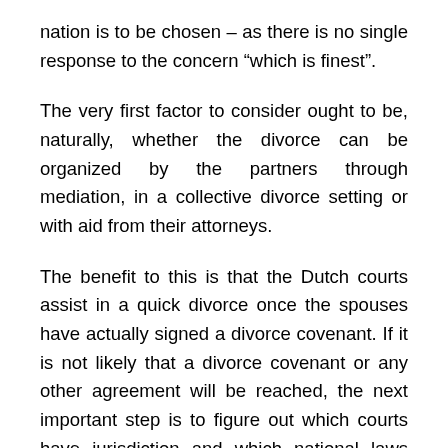nation is to be chosen – as there is no single response to the concern “which is finest”.
The very first factor to consider ought to be, naturally, whether the divorce can be organized by the partners through mediation, in a collective divorce setting or with aid from their attorneys.
The benefit to this is that the Dutch courts assist in a quick divorce once the spouses have actually signed a divorce covenant. If it is not likely that a divorce covenant or any other agreement will be reached, the next important step is to figure out which courts have jurisdiction and which national laws these courts may apply, or are obliged to apply. Here are a couple of examples.